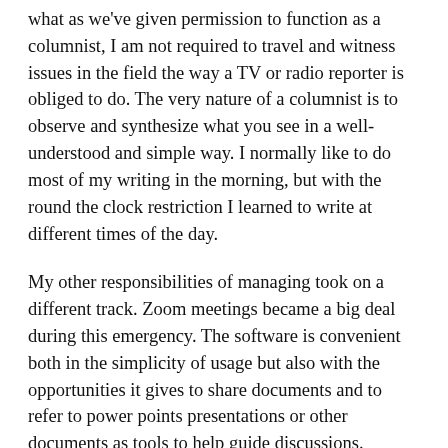what as we've given permission to function as a columnist, I am not required to travel and witness issues in the field the way a TV or radio reporter is obliged to do. The very nature of a columnist is to observe and synthesize what you see in a well-understood and simple way. I normally like to do most of my writing in the morning, but with the round the clock restriction I learned to write at different times of the day.
My other responsibilities of managing took on a different track. Zoom meetings became a big deal during this emergency. The software is convenient both in the simplicity of usage but also with the opportunities it gives to share documents and to refer to power points presentations or other documents as tools to help guide discussions.
While I quickly adopted to Zoom meetings, one habit